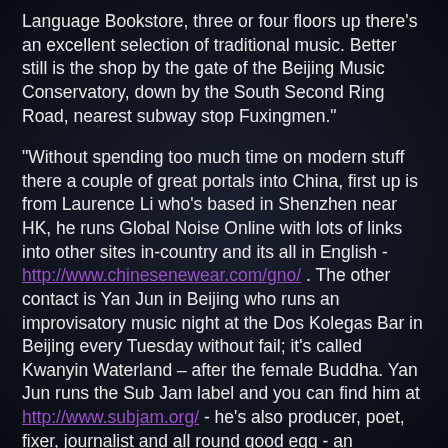Language Bookstore, three or four floors up there's an excellent selection of traditional music. Better still is the shop by the gate of the Beijing Music Conservatory, down by the South Second Ring Road, nearest subway stop Fuxingmen."
"Without spending too much time on modern stuff there a couple of great portals into China, first up is from Laurence Li who's based in Shenzhen near HK, he runs Global Noise Online with lots of links into other sites in-country and its all in English - http://www.chinesenewear.com/gno/ . The other contact is Yan Jun in Beijing who runs an improvisatory music night at the Dos Kolegas Bar in Beijing every Tuesday without fail; it's called Kwanyin Waterland – after the female Buddha. Yan Jun runs the Sub Jam label and you can find him at http://www.subjam.org/ - he's also producer, poet, fixer, journalist and all round good egg - an essential top man."
"Perhaps the most remarkable purchase I have made whilst in Beijing is a collection of 8 CDs by Sichuan folk music archivist and musician Huan Qing who is currently living in Dali, Yunnan. Compiled by Huan over several years there's